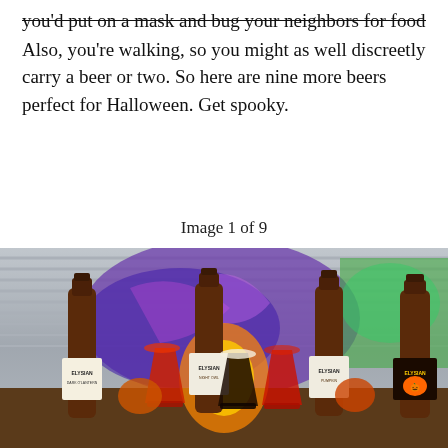...you'd put on a mask and bug your neighbors for food. Also, you're walking, so you might as well discreetly carry a beer or two. So here are nine more beers perfect for Halloween. Get spooky.
Image 1 of 9
[Figure (photo): Multiple Elysian brand beer bottles and glasses arranged on a table, with colorful graffiti mural in the background. Several brown beer bottles with Elysian labels are visible, along with pint glasses, some lit from behind with warm orange/red glow.]